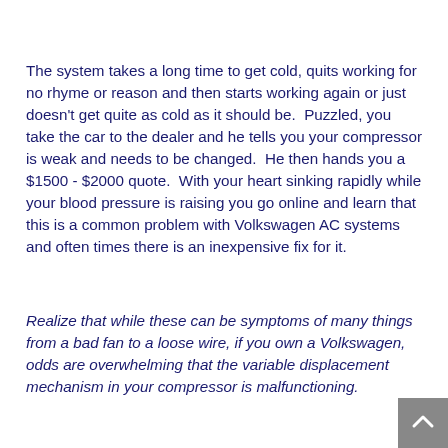The system takes a long time to get cold, quits working for no rhyme or reason and then starts working again or just doesn't get quite as cold as it should be.  Puzzled, you take the car to the dealer and he tells you your compressor is weak and needs to be changed.  He then hands you a $1500 - $2000 quote.  With your heart sinking rapidly while your blood pressure is raising you go online and learn that this is a common problem with Volkswagen AC systems and often times there is an inexpensive fix for it.
Realize that while these can be symptoms of many things from a bad fan to a loose wire, if you own a Volkswagen, odds are overwhelming that the variable displacement mechanism in your compressor is malfunctioning.